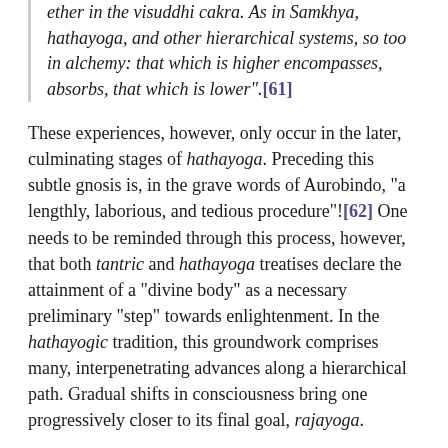ether in the visuddhi cakra. As in Samkhya, hathayoga, and other hierarchical systems, so too in alchemy: that which is higher encompasses, absorbs, that which is lower".[61]
These experiences, however, only occur in the later, culminating stages of hathayoga. Preceding this subtle gnosis is, in the grave words of Aurobindo, “a lengthly, laborious, and tedious procedure”![62] One needs to be reminded through this process, however, that both tantric and hathayoga treatises declare the attainment of a “divine body” as a necessary preliminary “step” towards enlightenment. In the hathayogic tradition, this groundwork comprises many, interpenetrating advances along a hierarchical path. Gradual shifts in consciousness bring one progressively closer to its final goal, rajayoga.
Concluding Remarks